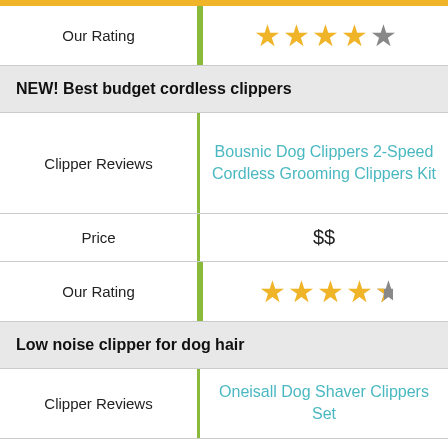|  |  |
| --- | --- |
| Our Rating | 4 out of 5 stars |
| NEW! Best budget cordless clippers |  |
| Clipper Reviews | Bousnic Dog Clippers 2-Speed Cordless Grooming Clippers Kit |
| Price | $$ |
| Our Rating | 4.5 out of 5 stars |
| Low noise clipper for dog hair |  |
| Clipper Reviews | Oneisall Dog Shaver Clippers Set |